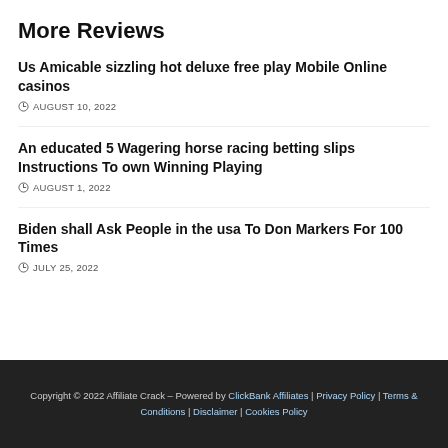More Reviews
Us Amicable sizzling hot deluxe free play Mobile Online casinos
AUGUST 10, 2022
An educated 5 Wagering horse racing betting slips Instructions To own Winning Playing
AUGUST 1, 2022
Biden shall Ask People in the usa To Don Markers For 100 Times
JULY 25, 2022
Copyright © 2022 Affiliate Crack – Powered by ClickBank Affiliates | Privacy Policy | Terms & Conditions | Disclaimer | Cookies Policy